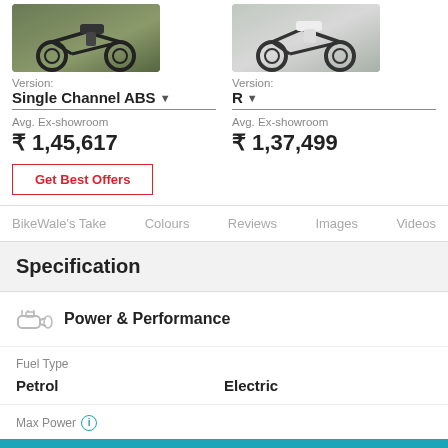[Figure (photo): Motorcycle image - dark sport bike on a road with greenery background]
[Figure (photo): Motorcycle image - white/grey scrambler style bike on a road]
Version: Single Channel ABS ▼
Version: R ▼
Avg. Ex-showroom ₹ 1,45,617
Avg. Ex-showroom ₹ 1,37,499
Get Best Offers
BikeWale's Take   Colours   Reviews   Images   Videos
Specification
Power & Performance
Fuel Type
Petrol
Electric
Max Power
24.1 bhp @ 8,750 rpm
9,000 W or 12.1 bhp